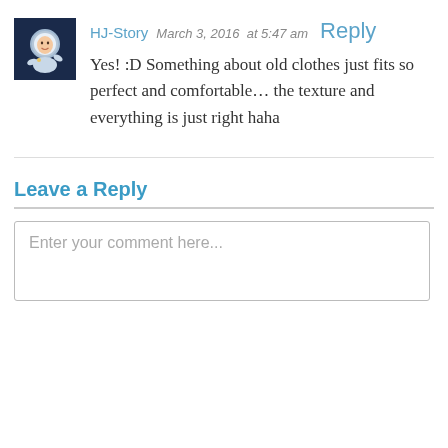[Figure (photo): Avatar image of HJ-Story: cartoon character in astronaut suit on dark blue background]
HJ-Story March 3, 2016 at 5:47 am Reply
Yes! :D Something about old clothes just fits so perfect and comfortable… the texture and everything is just right haha
Leave a Reply
Enter your comment here...